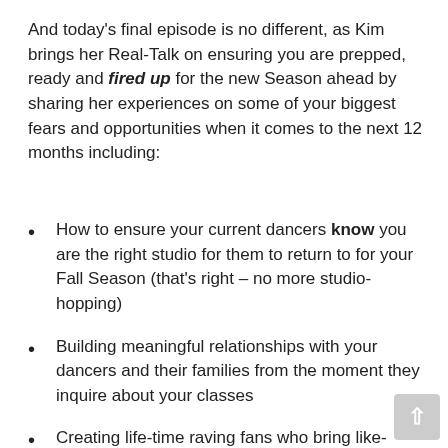And today's final episode is no different, as Kim brings her Real-Talk on ensuring you are prepped, ready and fired up for the new Season ahead by sharing her experiences on some of your biggest fears and opportunities when it comes to the next 12 months including:
How to ensure your current dancers know you are the right studio for them to return to for your Fall Season (that's right – no more studio-hopping)
Building meaningful relationships with your dancers and their families from the moment they inquire about your classes
Creating life-time raving fans who bring like-minded and like-hearted dancers into your studio for the long-haul